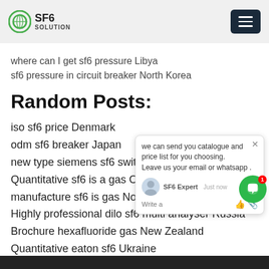SF6 SOLUTION
where can I get sf6 pressure Libya
sf6 pressure in circuit breaker North Korea
Random Posts:
iso sf6 price Denmark
odm sf6 breaker Japan
new type siemens sf6 switchgear Japan
Quantitative sf6 is a gas Chile
manufacture sf6 is gas North America
Highly professional dilo sf6 multi analyser Russia
Brochure hexafluoride gas New Zealand
Quantitative eaton sf6 Ukraine
[Figure (screenshot): Chat popup widget with SF6 Expert agent, showing message: we can send you catalogue and price list for you choosing. Leave us your email or whatsapp .]